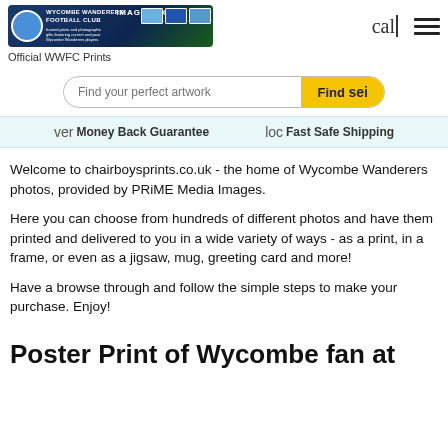[Figure (logo): Wycombe Wanderers Image Store banner with club logo, football photos, and text 'IMAGE STORE']
Official WWFC Prints
Find your perfect artwork
Find sei
ver Money Back Guarantee
loc Fast Safe Shipping
Welcome to chairboysprints.co.uk - the home of Wycombe Wanderers photos, provided by PRiME Media Images.
Here you can choose from hundreds of different photos and have them printed and delivered to you in a wide variety of ways - as a print, in a frame, or even as a jigsaw, mug, greeting card and more!
Have a browse through and follow the simple steps to make your purchase. Enjoy!
Poster Print of Wycombe fan at